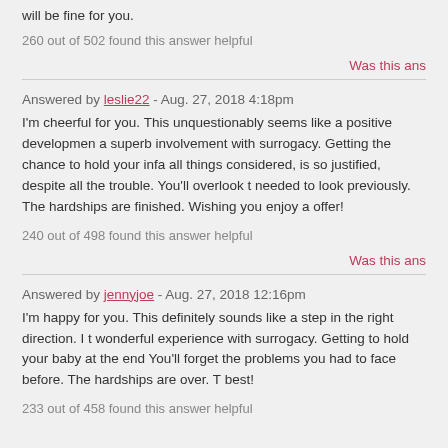will be fine for you.
260 out of 502 found this answer helpful
Was this ans
Answered by leslie22 - Aug. 27, 2018 4:18pm
I'm cheerful for you. This unquestionably seems like a positive developmen... a superb involvement with surrogacy. Getting the chance to hold your infa... all things considered, is so justified, despite all the trouble. You'll overlook t... needed to look previously. The hardships are finished. Wishing you enjoy a... offer!
240 out of 498 found this answer helpful
Was this ans
Answered by jennyjoe - Aug. 27, 2018 12:16pm
I'm happy for you. This definitely sounds like a step in the right direction. I t... wonderful experience with surrogacy. Getting to hold your baby at the end... You'll forget the problems you had to face before. The hardships are over. T... best!
233 out of 458 found this answer helpful